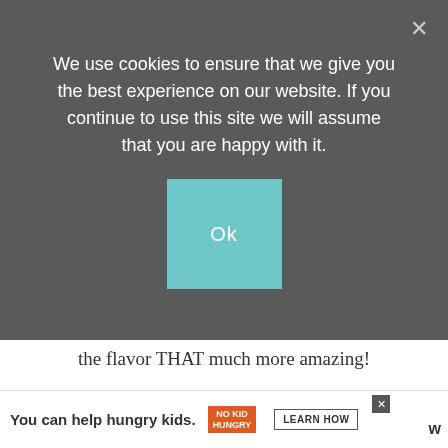We use cookies to ensure that we give you the best experience on our website. If you continue to use this site we will assume that you are happy with it.
Ok
the flavor THAT much more amazing!
Fudge – You'll need a jar of Hot Fudge Topping, chocolate sauce, or Hot Fudge for this recipe. I like to use the jar of fudge I find at the local market.
Ice Cream – I like to use a tub of vanilla ice cream for this recipe. You can use any type of vanilla your heart desires! Homemade or storebought; either way, these Buster Bars are going to taste
You can help hungry kids. NO KID HUNGRY LEARN HOW